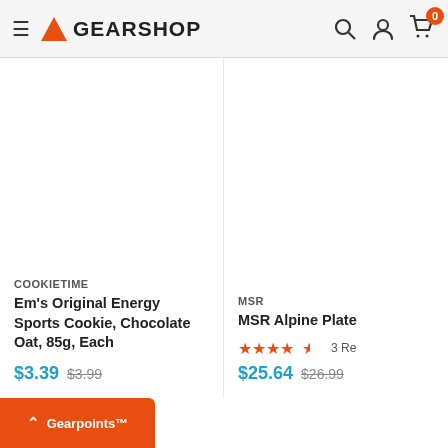GEARSHOP — navigation header with hamburger menu, logo, search, account, and cart icons (0 items)
COOKIETIME
Em's Original Energy Sports Cookie, Chocolate Oat, 85g, Each
$3.39  $3.99
MSR
MSR Alpine Plate
4.5 stars  3 Reviews
$25.64  $26.99
Gearpoints™